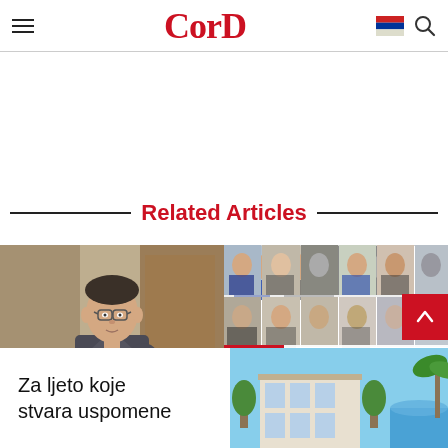CorD
Related Articles
[Figure (photo): Portrait photo of a man in a suit sitting in an office chair]
[Figure (photo): Magazine cover collage with headshots of business leaders and text 'challenges and OPPORTUNITIES']
[Figure (photo): Bottom banner with text 'Za ljeto koje stvara uspomene' and a building/pool photo on the right]